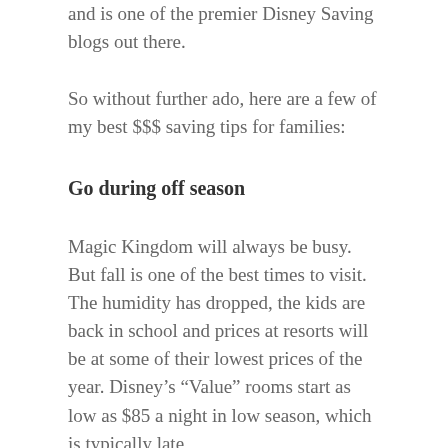and is one of the premier Disney Saving blogs out there.
So without further ado, here are a few of my best $$$ saving tips for families:
Go during off season
Magic Kingdom will always be busy. But fall is one of the best times to visit. The humidity has dropped, the kids are back in school and prices at resorts will be at some of their lowest prices of the year. Disney’s “Value” rooms start as low as $85 a night in low season, which is typically late